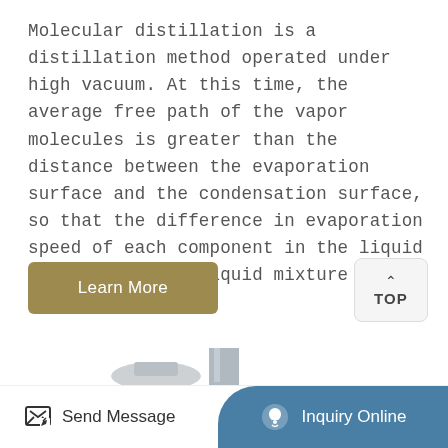Molecular distillation is a distillation method operated under high vacuum. At this time, the average free path of the vapor molecules is greater than the distance between the evaporation surface and the condensation surface, so that the difference in evaporation speed of each component in the liquid can be used for liquid mixture ...
[Figure (other): Learn More button — gold/tan rounded rectangle with white text]
[Figure (other): TOP navigation button — light grey rounded square with upward chevron arrow and TOP label]
[Figure (photo): Partial photo of laboratory distillation equipment — metal cylindrical apparatus with dark blue top cap visible against white background]
[Figure (other): Bottom navigation bar with Send Message on left (white background, icon and text) and Inquiry Online on right (teal/blue rounded section with headset icon and white text)]